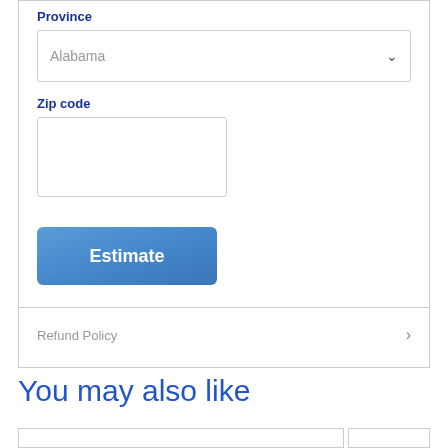Province
Alabama
Zip code
Estimate
Refund Policy
You may also like